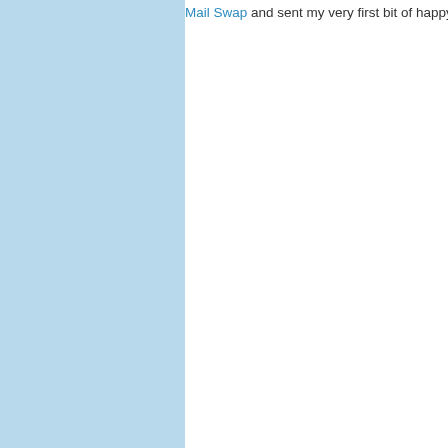Mail Swap and sent my very first bit of happy mail last week.  H
[Figure (photo): Flatlay photo of crafting/mail swap supplies including pink polka dot paper, green striped paper tied with a ribbon bow, colorful confetti stars and dots, an 'AWESOME' kraft paper tag, a 'HAPPY MAIL' graphic element, washi tape, crayons, and Webster's Pages packaging with barcode visible.]